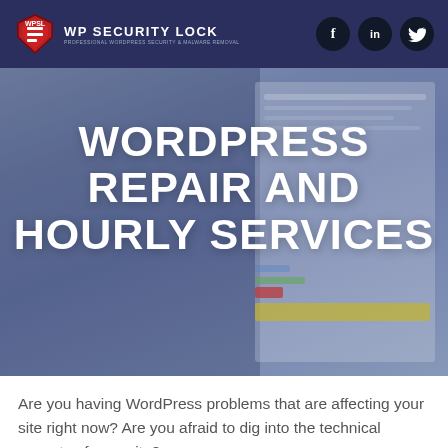WP SECURITY LOCK
WORDPRESS REPAIR AND HOURLY SERVICES
Are you having WordPress problems that are affecting your site right now? Are you afraid to dig into the technical aspects of your site?